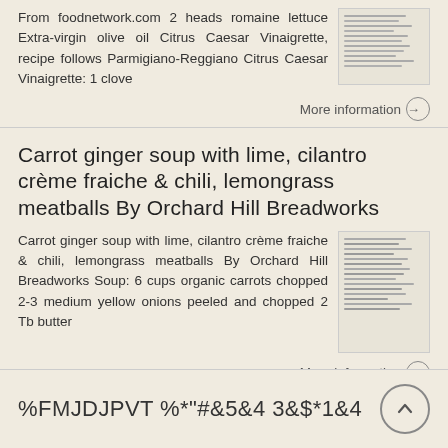From foodnetwork.com 2 heads romaine lettuce Extra-virgin olive oil Citrus Caesar Vinaigrette, recipe follows Parmigiano-Reggiano Citrus Caesar Vinaigrette: 1 clove
More information →
Carrot ginger soup with lime, cilantro crème fraiche & chili, lemongrass meatballs By Orchard Hill Breadworks
Carrot ginger soup with lime, cilantro crème fraiche & chili, lemongrass meatballs By Orchard Hill Breadworks Soup: 6 cups organic carrots chopped 2-3 medium yellow onions peeled and chopped 2 Tb butter
More information →
%FMJDJPVT %*"#&5&4 3&$*1&4